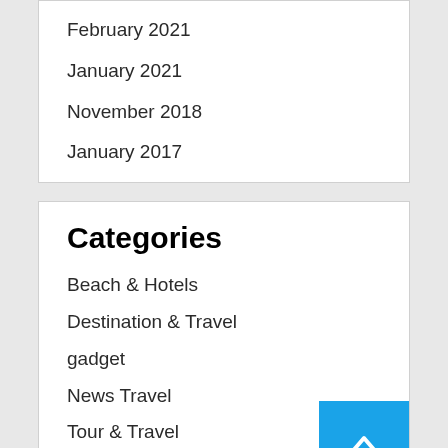February 2021
January 2021
November 2018
January 2017
Categories
Beach & Hotels
Destination & Travel
gadget
News Travel
Tour & Travel
Travel & Flights